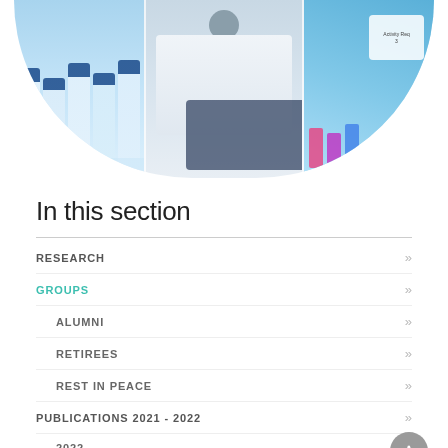[Figure (photo): Three laboratory photos arranged in a semicircle: left shows rows of blue-capped laboratory bottles, center shows a scientist in white lab coat using a microscope, right shows colorful laboratory sample vials with labels]
In this section
RESEARCH
GROUPS
ALUMNI
RETIREES
REST IN PEACE
PUBLICATIONS 2021 - 2022
2022